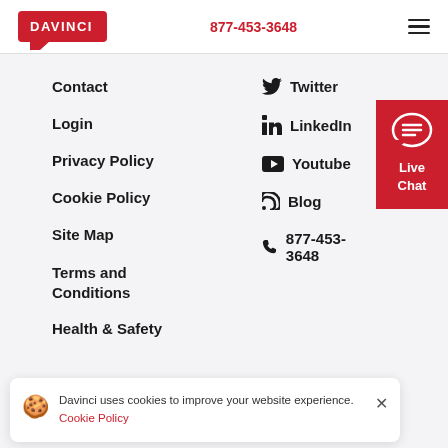[Figure (logo): DaVinci logo: red rounded rectangle with white text DAVINCI and a speech bubble tail at bottom left]
877-453-3648
[Figure (other): Hamburger menu icon with three horizontal lines]
Contact
Twitter
Login
LinkedIn
Privacy Policy
Youtube
Cookie Policy
Blog
Site Map
877-453-3648
Terms and Conditions
Health & Safety
[Figure (other): Red Live Chat button with speech bubble icon and text 'Live Chat']
Davinci uses cookies to improve your website experience. Cookie Policy